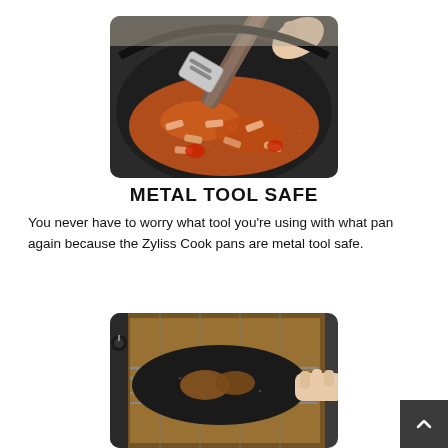[Figure (photo): A dark speckled non-stick pan with pasta in tomato sauce being stirred with a metal slotted spatula held by a hand. The pan is on a stove.]
METAL TOOL SAFE
You never have to worry what tool you're using with what pan again because the Zyliss Cook pans are metal tool safe.
[Figure (photo): A dark speckled non-stick pan being placed into or removed from an oven, with a hand gripping the handle. Meat is visible inside the pan on oven rack grates.]